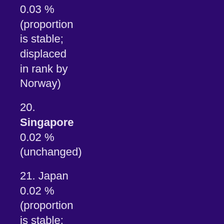0.03 % (proportion is stable; displaced in rank by Norway)
20. Singapore 0.02 % (unchanged)
21. Japan 0.02 % (proportion is stable; rank has increased, displacing Finland)
22. Finland 0.02 % (proportion is stable;